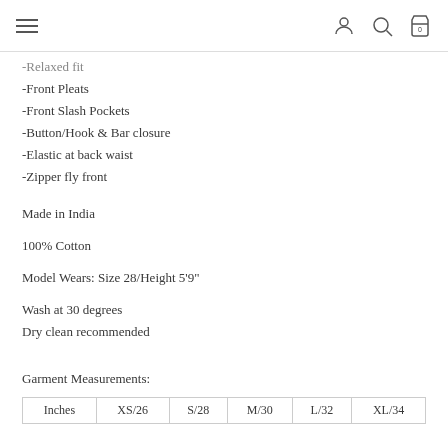Navigation header with hamburger menu, user icon, search icon, and bag icon with 0
-Relaxed fit
-Front Pleats
-Front Slash Pockets
-Button/Hook & Bar closure
-Elastic at back waist
-Zipper fly front
Made in India
100% Cotton
Model Wears: Size 28/Height 5'9"
Wash at 30 degrees
Dry clean recommended
Garment Measurements:
| Inches | XS/26 | S/28 | M/30 | L/32 | XL/34 |
| --- | --- | --- | --- | --- | --- |